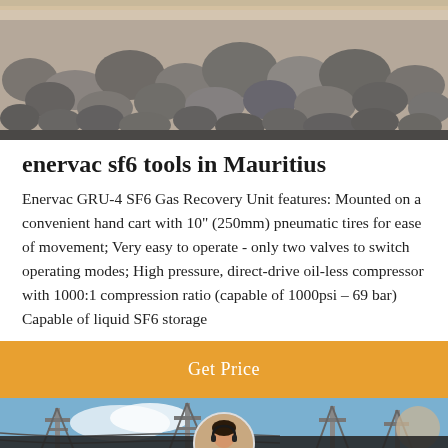[Figure (photo): Photo of a large pile of grey rocks/gravel aggregate material]
enervac sf6 tools in Mauritius
Enervac GRU-4 SF6 Gas Recovery Unit features: Mounted on a convenient hand cart with 10" (250mm) pneumatic tires for ease of movement; Very easy to operate - only two valves to switch operating modes; High pressure, direct-drive oil-less compressor with 1000:1 compression ratio (capable of 1000psi – 69 bar) Capable of liquid SF6 storage
Get Price
[Figure (photo): Photo of electrical transmission towers and power lines against a blue sky]
Leave Message
Chat Online